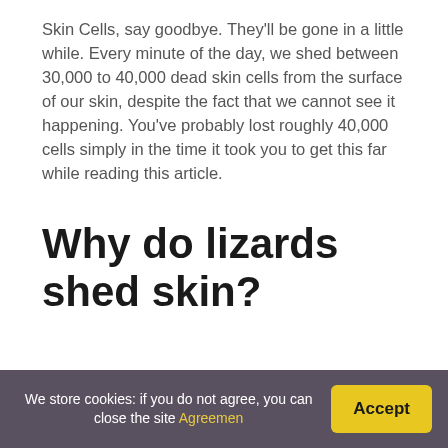Skin Cells, say goodbye. They'll be gone in a little while. Every minute of the day, we shed between 30,000 to 40,000 dead skin cells from the surface of our skin, despite the fact that we cannot see it happening. You've probably lost roughly 40,000 cells simply in the time it took you to get this far while reading this article.
Why do lizards shed skin?
As reptiles expand in size, they shed their skin to make room for new development. However, unlike our skin, the skin of a reptile does not expand as the
We store cookies: if you do not agree, you can close the site Agreemen